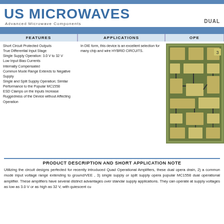US MICROWAVES
Advanced Microwave Components
FEATURES
APPLICATIONS
OPE
Short Circuit Protected Outputs
True Differential Input Stage
Single Supply Operation: 3.0 V to 32 V
Low Input Bias Currents
Internally Compensated
Common Mode Range Extends to Negative Supply
Single and Split Supply Operation; Similar Performance to the Popular MC1558
ESD Clamps on the Inputs Increase Ruggedness of the Device without Affecting Operation
In DIE form, this device is an excellent selection for many chip and wire HYBRID CIRCUITS.
[Figure (photo): Microscope photo of a dual operational amplifier integrated circuit die showing circuit traces and components on a green/gold substrate]
PRODUCT DESCRIPTION AND SHORT APPLICATION NOTE
Utilizing the circuit designs perfected for recently introduced Quad Operational Amplifiers, these dual opera drain, 2) a common mode input voltage range extending to ground/VEE , 3) single supply or split supply opera popular MC1558 dual operational amplifier. These amplifiers have several distinct advantages over standar supply applications. They can operate at supply voltages as low as 3.0 V or as high as 32 V, with quiescent cu